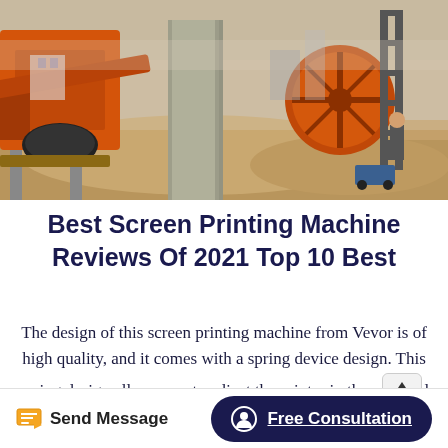[Figure (photo): Outdoor industrial/mining scene with large orange machinery, concrete pillars, sandy ground, metal structures, and a person standing in the background.]
Best Screen Printing Machine Reviews Of 2021 Top 10 Best
The design of this screen printing machine from Vevor is of high quality, and it comes with a spring device design. This spring design allows you to adjust the printer in the vertical direction effortlessly. This is a large screen printer at 30.5 by 24 by 20.5 inches, a platen size of 21.7 by 17.7Inch, and 95.5lbs.